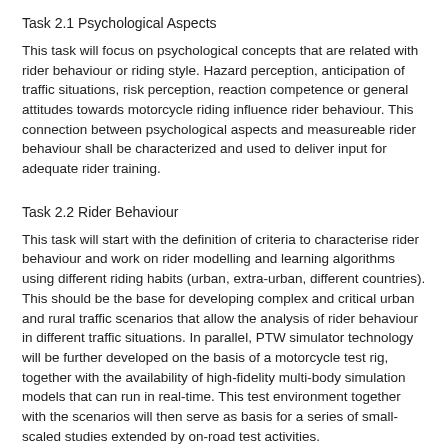Task 2.1 Psychological Aspects
This task will focus on psychological concepts that are related with rider behaviour or riding style. Hazard perception, anticipation of traffic situations, risk perception, reaction competence or general attitudes towards motorcycle riding influence rider behaviour. This connection between psychological aspects and measureable rider behaviour shall be characterized and used to deliver input for adequate rider training.
Task 2.2 Rider Behaviour
This task will start with the definition of criteria to characterise rider behaviour and work on rider modelling and learning algorithms using different riding habits (urban, extra-urban, different countries). This should be the base for developing complex and critical urban and rural traffic scenarios that allow the analysis of rider behaviour in different traffic situations. In parallel, PTW simulator technology will be further developed on the basis of a motorcycle test rig, together with the availability of high-fidelity multi-body simulation models that can run in real-time. This test environment together with the scenarios will then serve as basis for a series of small-scaled studies extended by on-road test activities.
Task 2.3 Rider Training